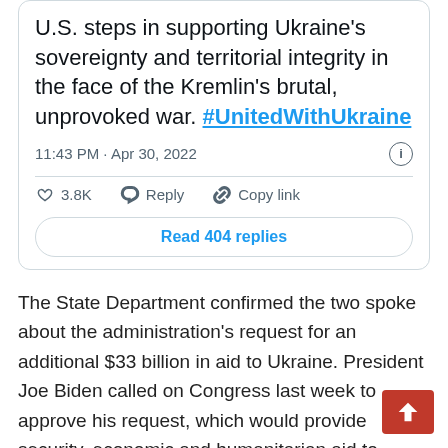[Figure (screenshot): Tweet card showing text about U.S. steps in supporting Ukraine's sovereignty and territorial integrity in the face of the Kremlin's brutal, unprovoked war. #UnitedWithUkraine. Timestamp: 11:43 PM · Apr 30, 2022. 3.8K likes. Reply. Copy link. Read 404 replies button.]
The State Department confirmed the two spoke about the administration's request for an additional $33 billion in aid to Ukraine. President Joe Biden called on Congress last week to approve his request, which would provide security, economic and humanitarian aid to Ukraine.
“We need this bill for Ukraine in this fight for freedom,” he stated. O“ur NATO allies, our EU partners are going to their fair share of the costs as well, but we have to do their. We have to do our part as well.”